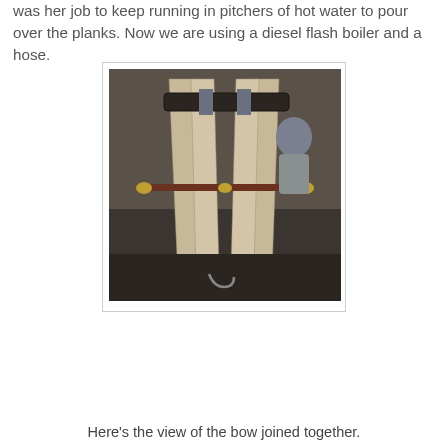was her job to keep running in pitchers of hot water to pour over the planks.  Now we are using a diesel flash boiler and a hose.
[Figure (photo): Wooden planks bent into a bow shape, held together with metal clamps and rods. A person is visible in the background in a workshop setting.]
Here's the view of the bow joined together.